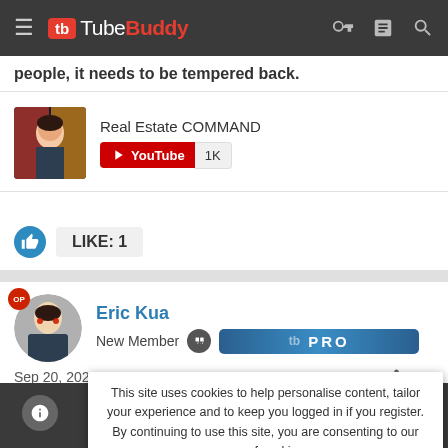TubeBuddy
people, it needs to be tempered back.
Real Estate COMMAND
YouTube 1K
LIKE: 1
Eric Kua
New Member PRO
Sep 20, 2021  #12
This site uses cookies to help personalise content, tailor your experience and to keep you logged in if you register.
By continuing to use this site, you are consenting to our use of cookies.
ACCEPT   LEARN MORE